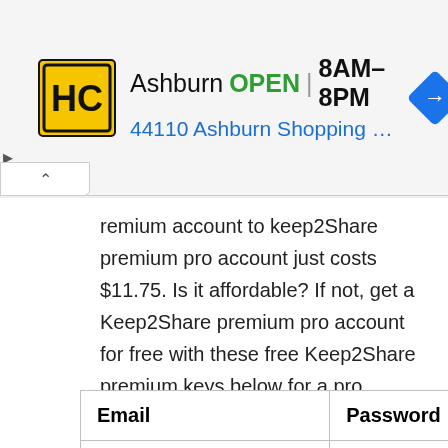[Figure (other): Advertisement banner for HC (Hardee's/similar) store in Ashburn. Yellow/black logo on left, text 'Ashburn OPEN | 8AM-8PM' and '44110 Ashburn Shopping Plaza 1.' with blue navigation arrow icon on right.]
remium account to keep2Share premium pro account just costs $11.75. Is it affordable? If not, get a Keep2Share premium pro account for free with these free Keep2Share premium keys below for a pro account.
| Email | Password |
| --- | --- |
| Zinke@mail.com | dexter388 |
| Macbride88@mail.com | intoblack |
| Gershon67@mail.com | Rintobaz |